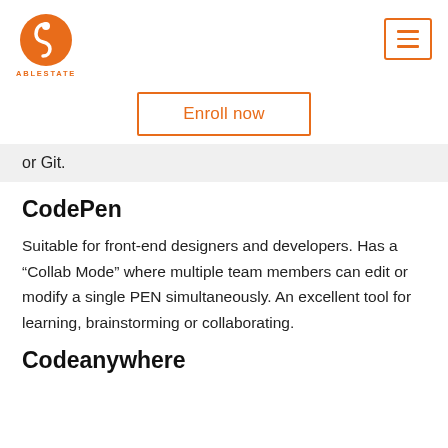ABLESTATE
[Figure (logo): AbleState logo: orange circle with stylized S/person figure, text ABLESTATE below]
[Figure (other): Hamburger menu button with three horizontal orange lines inside an orange-bordered rectangle]
Enroll now
or Git.
CodePen
Suitable for front-end designers and developers. Has a “Collab Mode” where multiple team members can edit or modify a single PEN simultaneously. An excellent tool for learning, brainstorming or collaborating.
Codeanywhere